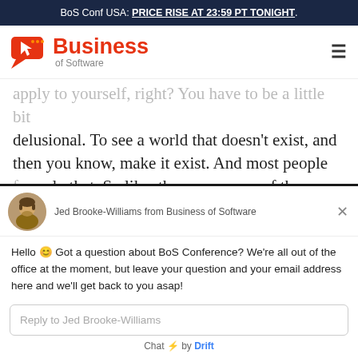BoS Conf USA: PRICE RISE AT 23:59 PT TONIGHT.
[Figure (logo): Business of Software logo with orange/red icon and text]
apply to yourself, right? You have to be a little bit delusional. To see a world that doesn't exist, and then you know, make it exist. And most people fail to do that. So like, those are some of the
Jed Brooke-Williams from Business of Software
Hello 😊 Got a question about BoS Conference? We're all out of the office at the moment, but leave your question and your email address here and we'll get back to you asap!
Reply to Jed Brooke-Williams
Chat ⚡ by Drift